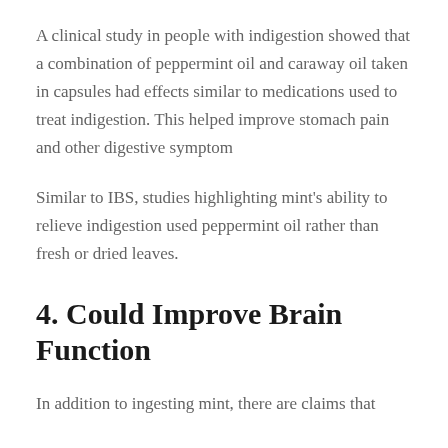A clinical study in people with indigestion showed that a combination of peppermint oil and caraway oil taken in capsules had effects similar to medications used to treat indigestion. This helped improve stomach pain and other digestive symptom
Similar to IBS, studies highlighting mint's ability to relieve indigestion used peppermint oil rather than fresh or dried leaves.
4. Could Improve Brain Function
In addition to ingesting mint, there are claims that